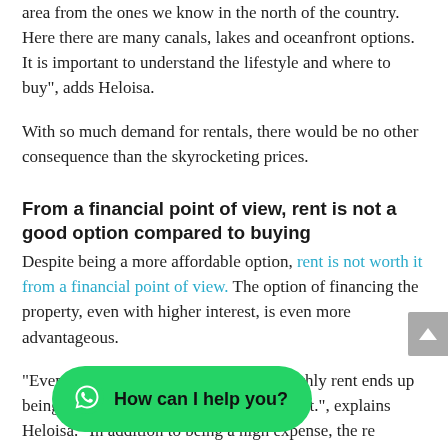area from the ones we know in the north of the country. Here there are many canals, lakes and oceanfront options. It is important to understand the lifestyle and where to buy”, adds Heloisa.
With so much demand for rentals, there would be no other consequence than the skyrocketing prices.
From a financial point of view, rent is not a good option compared to buying
Despite being a more affordable option, rent is not worth it from a financial point of view. The option of financing the property, even with higher interest, is even more advantageous.
“Even with higher interest rates, the monthly rent ends up being higher than the financing installment.”, explains Heloisa. “In addition to being a high expense, the re... the owner, who will follow the market appreciation.